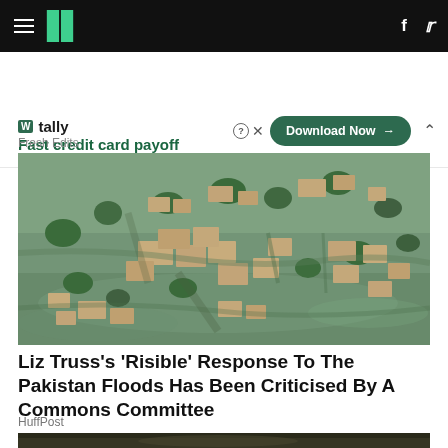HuffPost navigation bar with hamburger menu, logo, Facebook and Twitter icons
[Figure (screenshot): Tally advertisement banner: 'Fast credit card payoff' with Download Now button]
Fresh Edits
[Figure (photo): Aerial photograph of Pakistan flood disaster showing submerged village with rooftops and trees partially underwater]
Liz Truss's 'Risible' Response To The Pakistan Floods Has Been Criticised By A Commons Committee
HuffPost
[Figure (photo): Bottom partial image strip, dark colored]